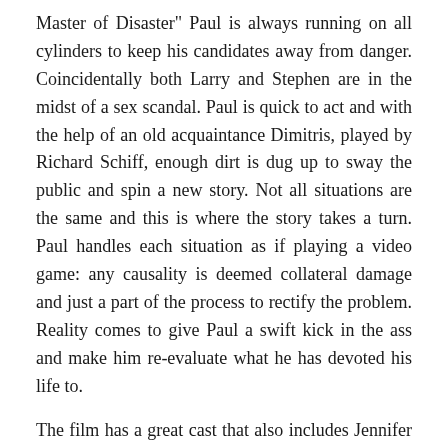Master of Disaster" Paul is always running on all cylinders to keep his candidates away from danger. Coincidentally both Larry and Stephen are in the midst of a sex scandal. Paul is quick to act and with the help of an old acquaintance Dimitris, played by Richard Schiff, enough dirt is dug up to sway the public and spin a new story. Not all situations are the same and this is where the story takes a turn. Paul handles each situation as if playing a video game: any causality is deemed collateral damage and just a part of the process to rectify the problem. Reality comes to give Paul a swift kick in the ass and make him re-evaluate what he has devoted his life to.
The film has a great cast that also includes Jennifer Morrison (Warrior), Jamie Chung (Suckerpunch), and Julie Bowen (Modern Family). Everyone had great chemistry and a likable charm to them which was a plus with the material being covered. It's weird to say but I like the film but dislike the material. It paints the American